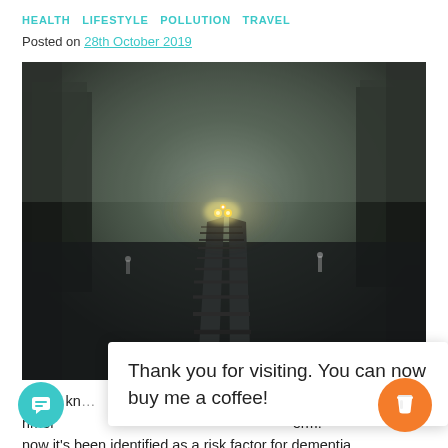HEALTH   LIFESTYLE   POLLUTION   TRAVEL
Posted on 28th October 2019
[Figure (photo): A misty foggy railway track at night with a distant train approaching, its headlights glowing through the fog. Trees barely visible on either side. Dark, moody atmosphere.]
Thank you for visiting. You can now buy me a coffee!
We've kn… as …rimer …erm.
now it's been identified as a risk factor for dementia.